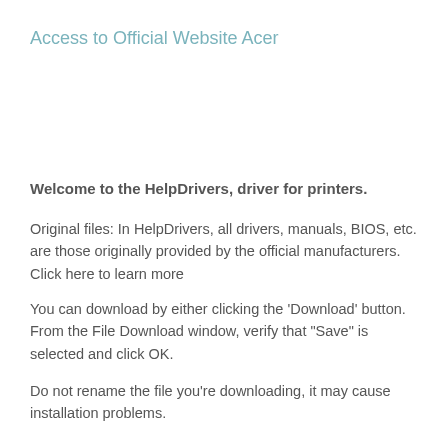Access to Official Website Acer
Welcome to the HelpDrivers, driver for printers.
Original files: In HelpDrivers, all drivers, manuals, BIOS, etc. are those originally provided by the official manufacturers. Click here to learn more
You can download by either clicking the 'Download' button. From the File Download window, verify that "Save" is selected and click OK.
Do not rename the file you're downloading, it may cause installation problems.